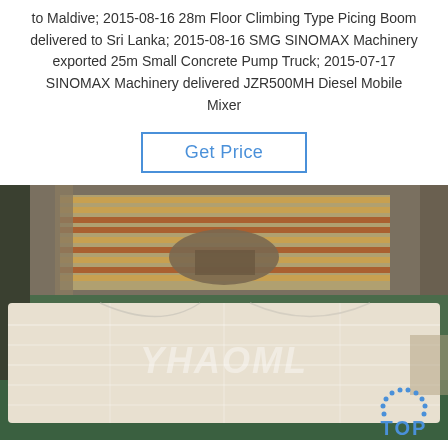to Maldive; 2015-08-16 28m Floor Climbing Type Picing Boom delivered to Sri Lanka; 2015-08-16 SMG SINOMAX Machinery exported 25m Small Concrete Pump Truck; 2015-07-17 SINOMAX Machinery delivered JZR500MH Diesel Mobile Mixer
Get Price
[Figure (photo): Photo of a large machine or equipment wrapped in plastic/shrink wrap, sitting in an industrial building. Conveyor rollers visible in background. Watermark text 'YHAOML' visible. Blue 'TOP' badge with dotted arc in bottom right corner.]